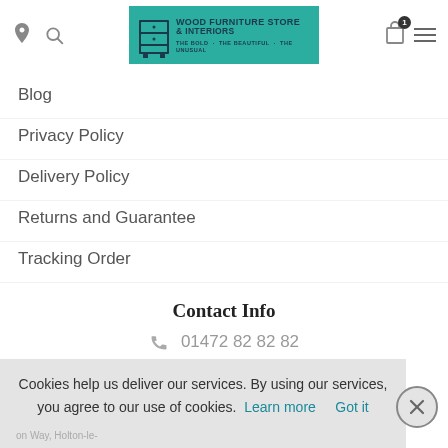[Figure (logo): Wood Furniture Store & Interiors logo on teal background with furniture icon]
Blog
Privacy Policy
Delivery Policy
Returns and Guarantee
Tracking Order
Contact Info
01472 82 82 82
Cookies help us deliver our services. By using our services, you agree to our use of cookies.  Learn more     Got it